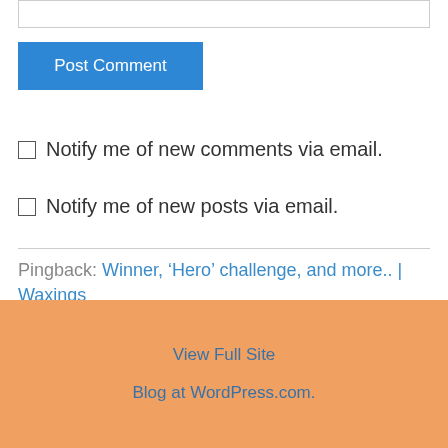[input box]
Post Comment
Notify me of new comments via email.
Notify me of new posts via email.
Pingback: Winner, ‘Hero’ challenge, and more.. | Waxings
View Full Site
Blog at WordPress.com.